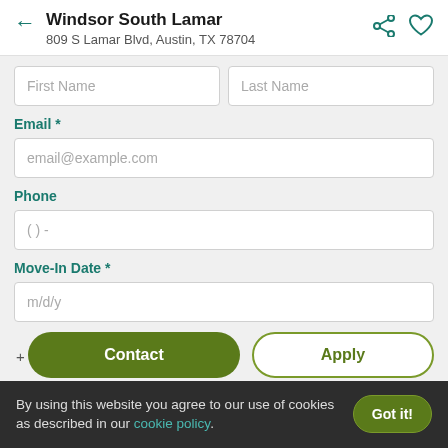Windsor South Lamar
809 S Lamar Blvd, Austin, TX 78704
First Name
Last Name
Email *
email@example.com
Phone
() -
Move-In Date *
m/d/y
Contact
Apply
Get more apartment listings like this by email.
By using this website you agree to our use of cookies as described in our cookie policy.
Got it!